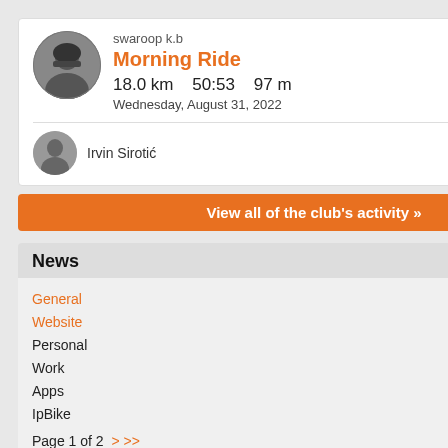swaroop k.b
Morning Ride
18.0 km   50:53   97 m
Wednesday, August 31, 2022
Irvin Sirotić
View all of the club's activity »
News
General
Website
Personal
Work
Apps
IpBike
Page 1 of 2  > >>
Jan 3, 2012
Forum
Category: Website
Posted by: ifor
Forum added
[More]
Jan 2, 2012
Upgraded site CMS
Category: Website
https:
mqtt
and a
https:
What
1. Ex
https:
2. ins
https:
3. Co
4. Co
https:
mqtt
5. co
https:
6. On
https:
7. co
https:
This w
conne
An An